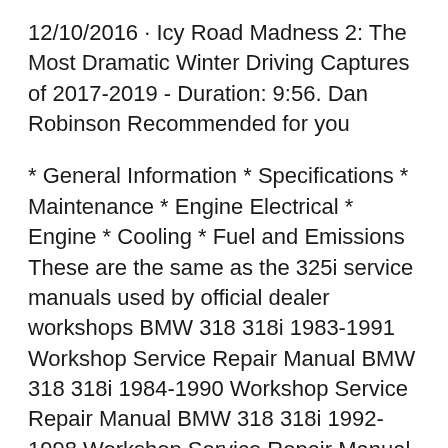12/10/2016 · Icy Road Madness 2: The Most Dramatic Winter Driving Captures of 2017-2019 - Duration: 9:56. Dan Robinson Recommended for you
* General Information * Specifications * Maintenance * Engine Electrical * Engine * Cooling * Fuel and Emissions These are the same as the 325i service manuals used by official dealer workshops BMW 318 318i 1983-1991 Workshop Service Repair Manual BMW 318 318i 1984-1990 Workshop Service Repair Manual BMW 318 318i 1992-1998 Workshop Service Repair Manual BMW 320 320i 1987-1991 Workshop Service Repair Manual BMW 323 323i 1992-1998 Workshop Service Repair Manual